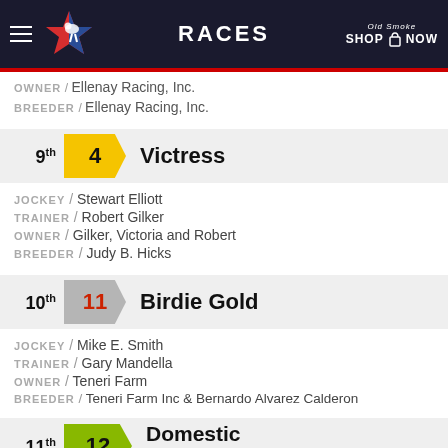RACES
OWNER / Ellenay Racing, Inc.
BREEDER / Ellenay Racing, Inc.
9th  4  Victress
JOCKEY / Stewart Elliott
TRAINER / Robert Gilker
OWNER / Gilker, Victoria and Robert
BREEDER / Judy B. Hicks
10th  11  Birdie Gold
JOCKEY / Mike E. Smith
TRAINER / Gary Mandella
OWNER / Teneri Farm
BREEDER / Teneri Farm Inc & Bernardo Alvarez Calderon
11th  12  Domestic Vintage